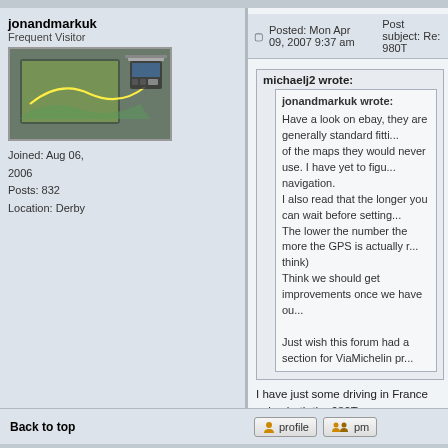jonandmarkuk | Frequent Visitor | Joined: Aug 06, 2006 | Posts: 832 | Location: Derby
Posted: Mon Apr 09, 2007 9:37 am   Post subject: Re: 980T
michaelj2 wrote:
jonandmarkuk wrote: Have a look on ebay, they are generally standard fitti... of the maps they would never use. I have yet to figu... navigation. I also read that the longer you can wait before setting... The lower the number the more the GPS is actually r... think) Think we should get improvements once we have ou... Just wish this forum had a section for ViaMichelin pr...
I have just some driving in France using both the 980T a... about 100m "behind" and sometimes slow to pick up the... and the incorporation of the Michelin Guides its best fea... multiple routes and to pre-plan your journeys on the PC.
Just looked at the Garmin and at £600+ I think I'll stick with the 9...
Back to top